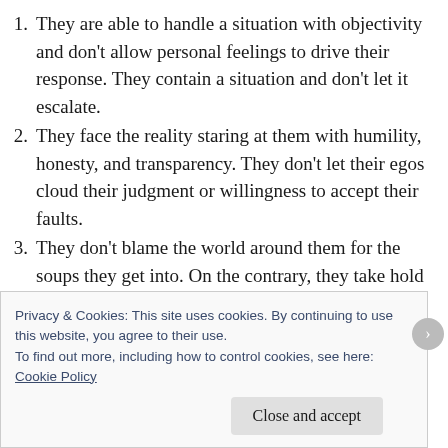They are able to handle a situation with objectivity and don’t allow personal feelings to drive their response. They contain a situation and don’t let it escalate.
They face the reality staring at them with humility, honesty, and transparency. They don’t let their egos cloud their judgment or willingness to accept their faults.
They don’t blame the world around them for the soups they get into. On the contrary, they take hold themselves accountable for their mistakes and take responsibility in addressing issues and
Privacy & Cookies: This site uses cookies. By continuing to use this website, you agree to their use.
To find out more, including how to control cookies, see here: Cookie Policy
Close and accept